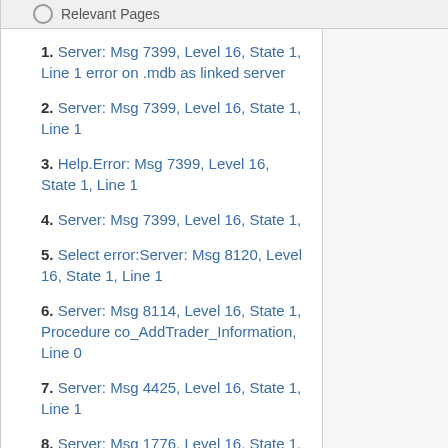Relevant Pages
1. Server: Msg 7399, Level 16, State 1, Line 1 error on .mdb as linked server
2. Server: Msg 7399, Level 16, State 1, Line 1
3. Help.Error: Msg 7399, Level 16, State 1, Line 1
4. Server: Msg 7399, Level 16, State 1,
5. Select error:Server: Msg 8120, Level 16, State 1, Line 1
6. Server: Msg 8114, Level 16, State 1, Procedure co_AddTrader_Information, Line 0
7. Server: Msg 4425, Level 16, State 1, Line 1
8. Server: Msg 1776, Level 16, State 1, Line 1
9. Server: Msg 214, Level 16, State 2, Procedure